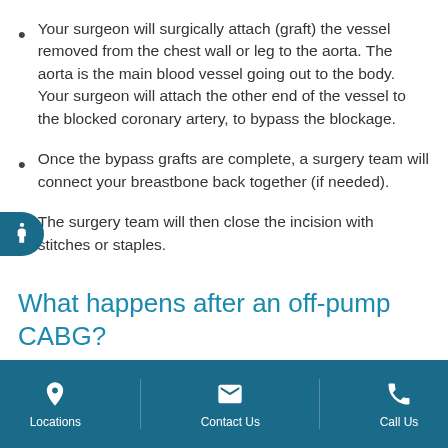Your surgeon will surgically attach (graft) the vessel removed from the chest wall or leg to the aorta. The aorta is the main blood vessel going out to the body. Your surgeon will attach the other end of the vessel to the blocked coronary artery, to bypass the blockage.
Once the bypass grafts are complete, a surgery team will connect your breastbone back together (if needed).
The surgery team will then close the incision with stitches or staples.
What happens after an off-pump CABG?
Locations | Contact Us | Call Us